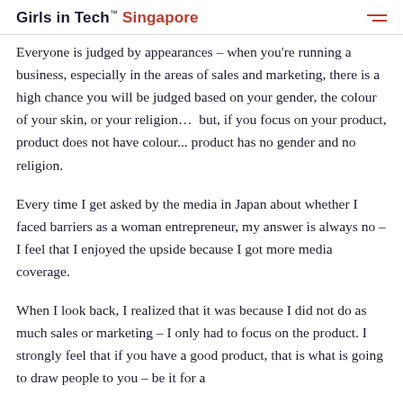Girls in Tech Singapore
Everyone is judged by appearances – when you're running a business, especially in the areas of sales and marketing, there is a high chance you will be judged based on your gender, the colour of your skin, or your religion…  but, if you focus on your product, product does not have colour... product has no gender and no religion.
Every time I get asked by the media in Japan about whether I faced barriers as a woman entrepreneur, my answer is always no – I feel that I enjoyed the upside because I got more media coverage.
When I look back, I realized that it was because I did not do as much sales or marketing – I only had to focus on the product. I strongly feel that if you have a good product, that is what is going to draw people to you – be it for a